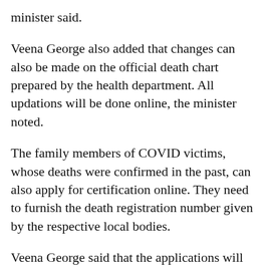minister said.
Veena George also added that changes can also be made on the official death chart prepared by the health department. All updations will be done online, the minister noted.
The family members of COVID victims, whose deaths were confirmed in the past, can also apply for certification online. They need to furnish the death registration number given by the respective local bodies.
Veena George said that the applications will be scrutinised before certificates are issued. The chief registrar of births and deaths in Kerala will be informed of the updates. All applications will be considered within 30 days, the minister noted.